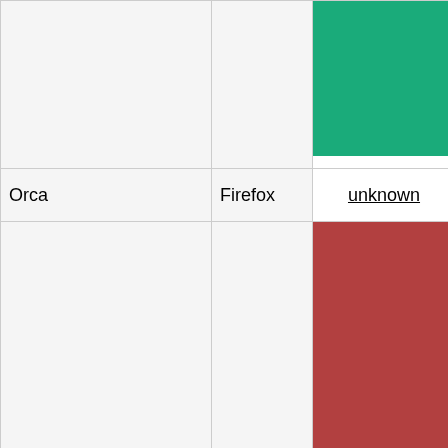|  |  |  |  |
| --- | --- | --- | --- |
|  |  | [green cell] | navi...
cont... |
| Orca | Firefox | unknown | - |
|  |  | [red cell] | Result: [red] ...
► Te... Swi... alt+n... (Rea... to na... forw... start... `role...
Outp... the s... unna... navi... cont... |